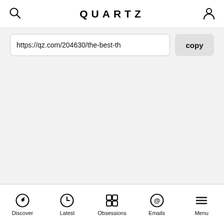QUARTZ
https://qz.com/204630/the-best-th
copy
Discover | Latest | Obsessions | Emails | Menu